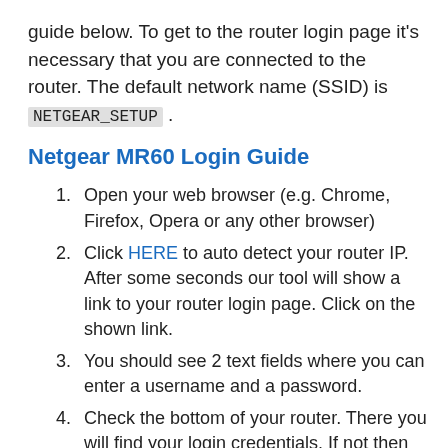guide below. To get to the router login page it's necessary that you are connected to the router. The default network name (SSID) is NETGEAR_SETUP .
Netgear MR60 Login Guide
Open your web browser (e.g. Chrome, Firefox, Opera or any other browser)
Click HERE to auto detect your router IP. After some seconds our tool will show a link to your router login page. Click on the shown link.
You should see 2 text fields where you can enter a username and a password.
Check the bottom of your router. There you will find your login credentials. If not then have a look at the manual of